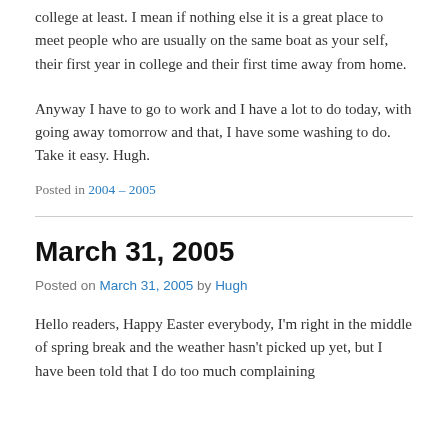college at least. I mean if nothing else it is a great place to meet people who are usually on the same boat as your self, their first year in college and their first time away from home.
Anyway I have to go to work and I have a lot to do today, with going away tomorrow and that, I have some washing to do. Take it easy. Hugh.
Posted in 2004 – 2005
March 31, 2005
Posted on March 31, 2005 by Hugh
Hello readers, Happy Easter everybody, I'm right in the middle of spring break and the weather hasn't picked up yet, but I have been told that I do too much complaining